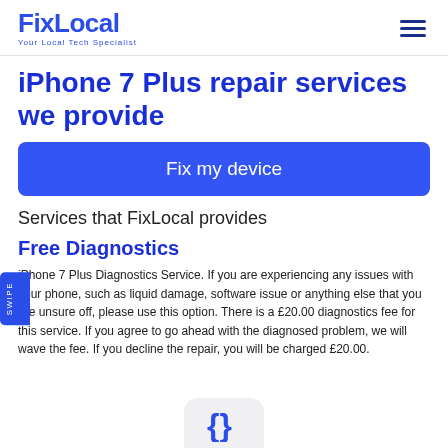FixLocal — Your Local Tech Specialist
iPhone 7 Plus repair services we provide
Fix my device
Services that FixLocal provides
Free Diagnostics
iPhone 7 Plus Diagnostics Service. If you are experiencing any issues with your phone, such as liquid damage, software issue or anything else that you are unsure off, please use this option. There is a £20.00 diagnostics fee for this service. If you agree to go ahead with the diagnosed problem, we will wave the fee. If you decline the repair, you will be charged £20.00.
[Figure (logo): FixLocal phone icon logo at the bottom of page]